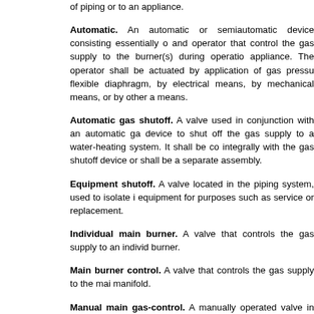of piping or to an appliance.
Automatic. An automatic or semiautomatic device consisting essentially of and operator that control the gas supply to the burner(s) during operation appliance. The operator shall be actuated by application of gas pressure flexible diaphragm, by electrical means, by mechanical means, or by other means.
Automatic gas shutoff. A valve used in conjunction with an automatic gas device to shut off the gas supply to a water-heating system. It shall be constructed integrally with the gas shutoff device or shall be a separate assembly.
Equipment shutoff. A valve located in the piping system, used to isolate equipment for purposes such as service or replacement.
Individual main burner. A valve that controls the gas supply to an individual burner.
Main burner control. A valve that controls the gas supply to the main manifold.
Manual main gas-control. A manually operated valve in the gas line for the of completely turning on or shutting off the gas supply to the appliance, except pilot or pilots that are provided with independent shutoff.
Manual reset. An automatic shutoff valve installed in the gas supply piping to shut off when unsafe conditions occur. The device remains closed until reopened.